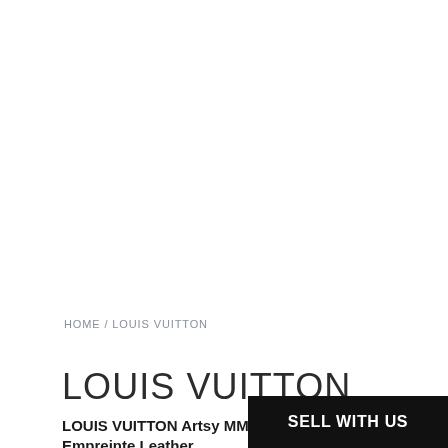HOME / LOUIS VUITTON
LOUIS VUITTON
LOUIS VUITTON Artsy MM Brown Monogram Empreinte Leather